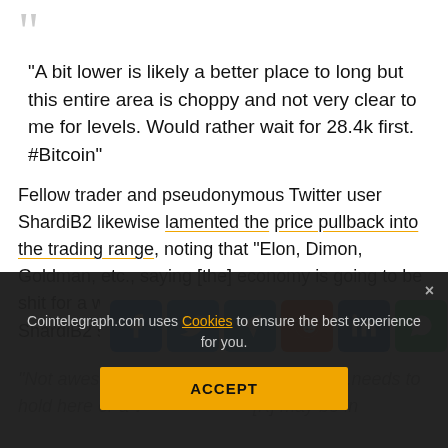“A bit lower is likely a better place to long but this entire area is choppy and not very clear to me for levels. Would rather wait for 28.4k first. #Bitcoin”
Fellow trader and pseudonymous Twitter user ShardiB2 likewise lamented the price pullback into the trading range, noting that “Elon, Dimon, Goldman, etc., saying [the] economy is going to be shit for a while is going to wei…
ShardiB2 said.
Cointelegraph.com uses Cookies to ensure the best experience for you.
“Not awesome… [channel]..needs to hold here or a v… [K] may be in